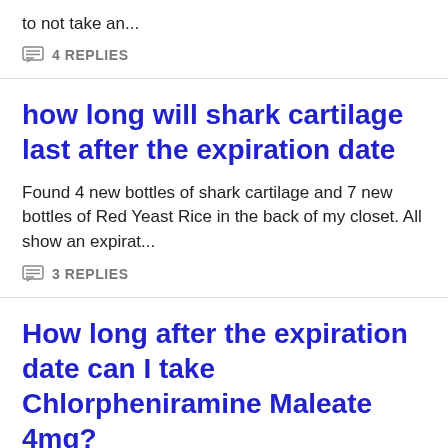to not take an...
4 REPLIES
how long will shark cartilage last after the expiration date
Found 4 new bottles of shark cartilage and 7 new bottles of Red Yeast Rice in the back of my closet. All show an expirat...
3 REPLIES
How long after the expiration date can I take Chlorpheniramine Maleate 4mg?
How long after the expiration date can I take...